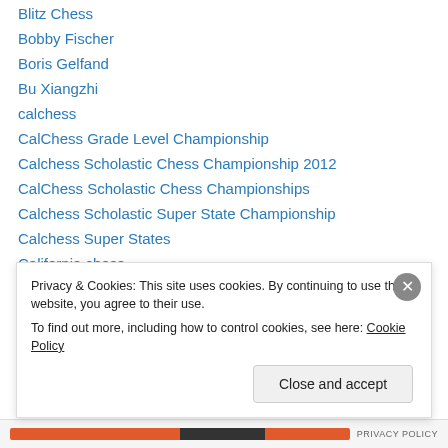Blitz Chess
Bobby Fischer
Boris Gelfand
Bu Xiangzhi
calchess
CalChess Grade Level Championship
Calchess Scholastic Chess Championship 2012
CalChess Scholastic Chess Championships
Calchess Scholastic Super State Championship
Calchess Super States
California chess
california chess
california chess tournaments
Privacy & Cookies: This site uses cookies. By continuing to use this website, you agree to their use.
To find out more, including how to control cookies, see here: Cookie Policy